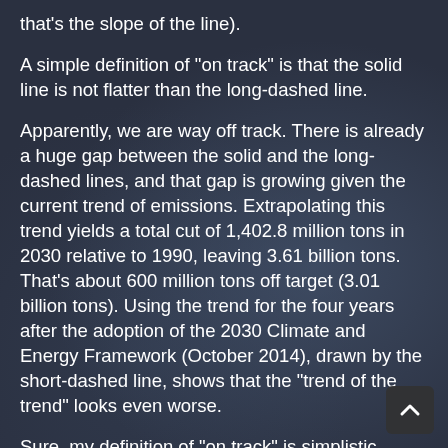that's the slope of the line).
A simple definition of "on track" is that the solid line is not flatter than the long-dashed line.
Apparently, we are way off track. There is already a huge gap between the solid and the long-dashed lines, and that gap is growing given the current trend of emissions. Extrapolating this trend yields a total cut of 1,402.8 million tons in 2030 relative to 1990, leaving 3.61 billion tons. That's about 600 million tons off target (3.01 billion tons). Using the trend for the four years after the adoption of the 2030 Climate and Energy Framework (October 2014), drawn by the short-dashed line, shows that the "trend of the trend" looks even worse.
Sure, my definition of "on track" is simplistic. Policymakers may object that I need to account for all those nice policies and technologies that